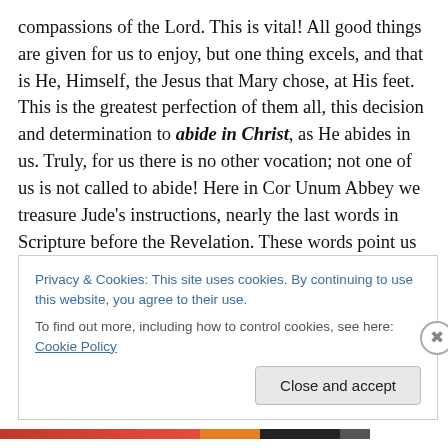compassions of the Lord. This is vital! All good things are given for us to enjoy, but one thing excels, and that is He, Himself, the Jesus that Mary chose, at His feet. This is the greatest perfection of them all, this decision and determination to abide in Christ, as He abides in us. Truly, for us there is no other vocation; not one of us is not called to abide! Here in Cor Unum Abbey we treasure Jude's instructions, nearly the last words in Scripture before the Revelation. These words point us back, at the close of the written word, to Jesus' premier exhortation, “Abide in Me!”
Privacy & Cookies: This site uses cookies. By continuing to use this website, you agree to their use.
To find out more, including how to control cookies, see here: Cookie Policy